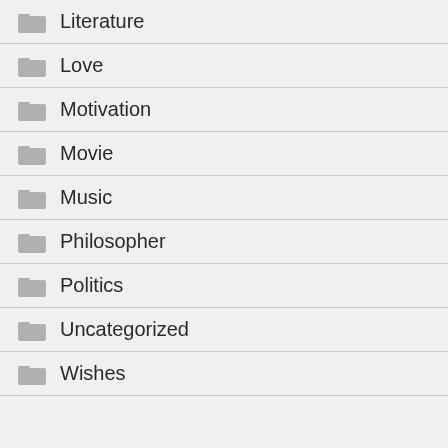Literature
Love
Motivation
Movie
Music
Philosopher
Politics
Uncategorized
Wishes